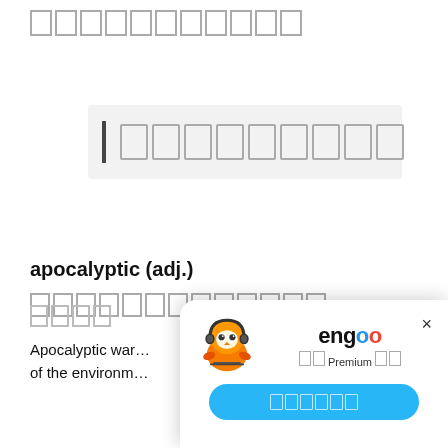[redacted header text]
[Figure (screenshot): Search input box with left vertical bar accent and redacted placeholder text on light gray background]
apocalyptic (adj.) [redacted translation]
[redacted label]
Apocalyptic war... of the environm...
[Figure (illustration): Engoo app popup with orange owl mascot, engoo logo, redacted Premium text, and a blue rounded button with redacted text, with X close button]